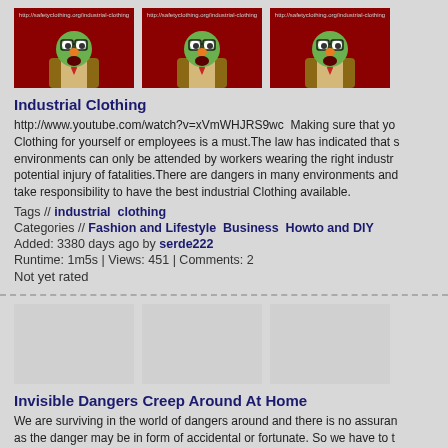[Figure (screenshot): Three video thumbnails showing a green puppet/muppet character against a dark red curtain background, with URL bar showing http://safetyclothing.org/industrial-clothing]
Industrial Clothing
http://www.youtube.com/watch?v=xVmWHJRS9wc  Making sure that you have the right Industrial Clothing for yourself or employees is a must.The law has indicated that some environments can only be attended by workers wearing the right industrial clothing to prevent potential injury of fatalities.There are dangers in many environments and employers need to take responsibility to have the best industrial Clothing available.
Tags // industrial  clothing
Categories // Fashion and Lifestyle  Business  Howto and DIY
Added: 3380 days ago by serde222
Runtime: 1m5s | Views: 451 | Comments: 2
Not yet rated
[Figure (screenshot): Three blank/placeholder gray video thumbnails]
Invisible Dangers Creep Around At Home
We are surviving in the world of dangers around and there is no assurance as the danger may be in form of accidental or fortunate. So we have to think of our dear ones. It is impossible to avoid all of life's potential pitfalls and we advise avoiding but not creating insecurity in our home.